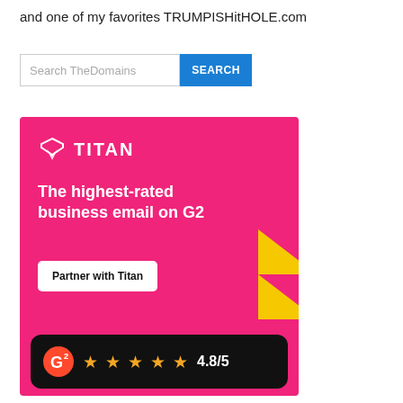and one of my favorites TRUMPISHitHOLE.com
[Figure (screenshot): Search bar with 'Search TheDomains' placeholder and a blue SEARCH button]
[Figure (infographic): Titan email advertisement with pink background, Titan logo, headline 'The highest-rated business email on G2', 'Partner with Titan' button, yellow chevron graphic, and a G2 rating badge showing 4.8/5 with 4.5 stars]